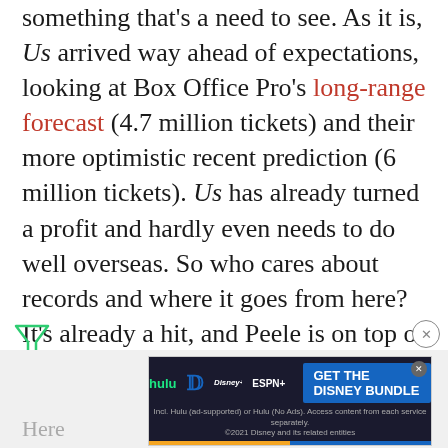something that's a need to see. As it is, Us arrived way ahead of expectations, looking at Box Office Pro's long-range forecast (4.7 million tickets) and their more optimistic recent prediction (6 million tickets). Us has already turned a profit and hardly even needs to do well overseas. So who cares about records and where it goes from here? It's already a hit, and Peele is on top of the world.
[Figure (other): Filter/funnel icon in green, close/X button circle on right, partial 'Here' text at bottom left, Disney Bundle advertisement banner with Hulu, Disney+, ESPN+ logos and 'GET THE DISNEY BUNDLE' button]